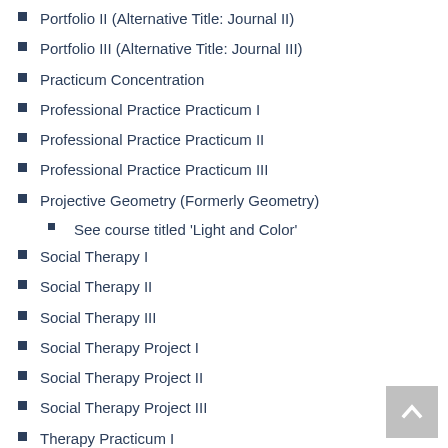Portfolio II (Alternative Title: Journal II)
Portfolio III (Alternative Title: Journal III)
Practicum Concentration
Professional Practice Practicum I
Professional Practice Practicum II
Professional Practice Practicum III
Projective Geometry (Formerly Geometry)
See course titled 'Light and Color'
Social Therapy I
Social Therapy II
Social Therapy III
Social Therapy Project I
Social Therapy Project II
Social Therapy Project III
Therapy Practicum I